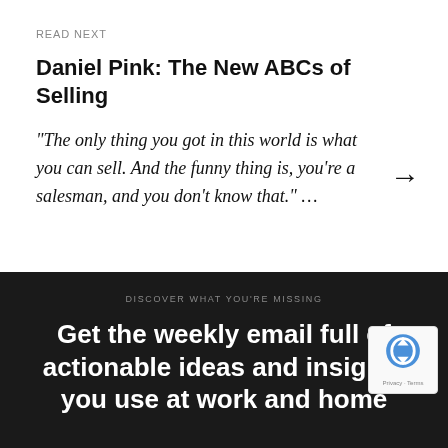READ NEXT
Daniel Pink: The New ABCs of Selling
“The only thing you got in this world is what you can sell. And the funny thing is, you’re a salesman, and you don’t know that.” …
DISCOVER WHAT YOU’RE MISSING
Get the weekly email full of actionable ideas and insights you use at work and home